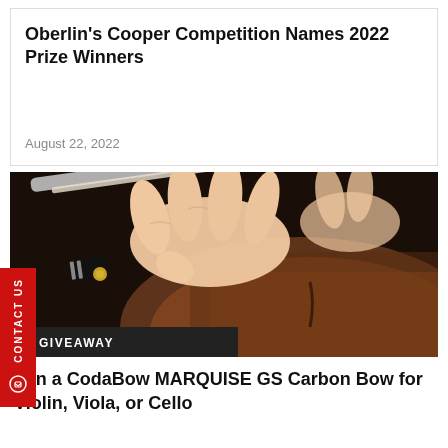Oberlin's Cooper Competition Names 2022 Prize Winners
August 22, 2022
[Figure (photo): Close-up photograph of a hand holding a violin bow on the strings of a violin, dark background]
C GIVEAWAY
Win a CodaBow MARQUISE GS Carbon Bow for Violin, Viola, or Cello